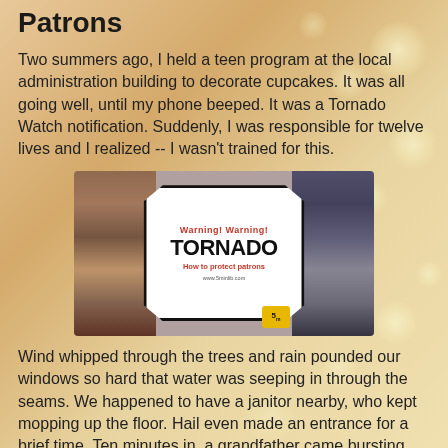Patrons
Two summers ago, I held a teen program at the local administration building to decorate cupcakes. It was all going well, until my phone beeped. It was a Tornado Watch notification. Suddenly, I was responsible for twelve lives and I realized -- I wasn't trained for this.
[Figure (photo): Tornado warning image with text 'Warning! Warning! TORNADO How to protect patrons www.5minlib.com' overlaid on a library bookshelf background]
Wind whipped through the trees and rain pounded our windows so hard that water was seeping in through the seams. We happened to have a janitor nearby, who kept mopping up the floor. Hail even made an entrance for a brief time. Ten minutes in, a grandfather came bursting through